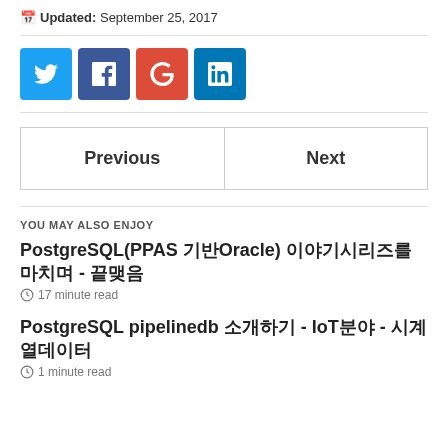Updated: September 25, 2017
[Figure (infographic): Social share buttons: Twitter (blue), Facebook (dark blue), Google+ (red), LinkedIn (light blue)]
| Previous | Next |
| --- | --- |
YOU MAY ALSO ENJOY
PostgreSQL(PPAS 기반Oracle) 이야기시리즈를 마치며 - 끝맺음
17 minute read
PostgreSQL pipelinedb 소개하기 - IoT분야 - 시계열데이터
1 minute read